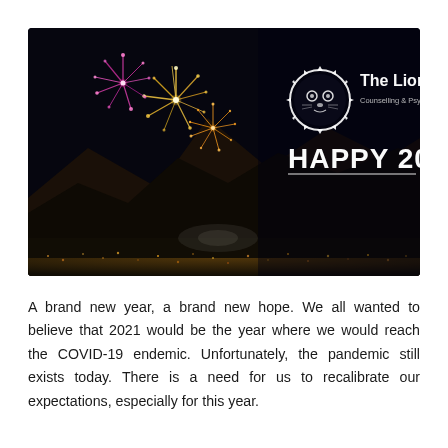[Figure (photo): Dark night sky with colorful fireworks exploding on the left side, mountains silhouetted in background, city lights below. On the right side, a white sun/gear logo with a lion face, text 'The Lion Mind Counselling & Psychological Services', and bold white text 'HAPPY 2022!']
A brand new year, a brand new hope. We all wanted to believe that 2021 would be the year where we would reach the COVID-19 endemic. Unfortunately, the pandemic still exists today. There is a need for us to recalibrate our expectations, especially for this year.